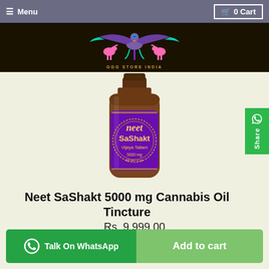≡ Menu   🛒 0 Cart
[Figure (logo): GGG Store India logo - colorful bird/eagle emblem with horses on dark background]
[Figure (photo): Neet SaShakt Vijaya Tailam Cannabis Oil Tincture 5000mg bottle with purple label in a dark amber glass bottle]
Neet SaShakt 5000 mg Cannabis Oil Tincture
Rs. 9,999.00
Talk On WhatsApp
Add to cart